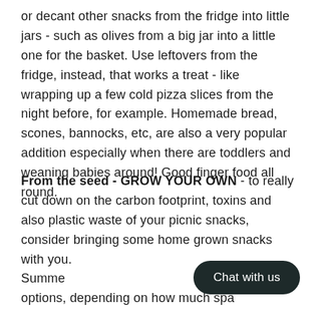or decant other snacks from the fridge into little jars - such as olives from a big jar into a little one for the basket. Use leftovers from the fridge, instead, that works a treat - like wrapping up a few cold pizza slices from the night before, for example. Homemade bread, scones, bannocks, etc, are also a very popular addition especially when there are toddlers and weaning babies around! Good finger food all round.
From the seed - GROW YOUR OWN - to really cut down on the carbon footprint, toxins and also plastic waste of your picnic snacks, consider bringing some home grown snacks with you. Summe options, depending on how much spa our garden or home - even a little window box can provide